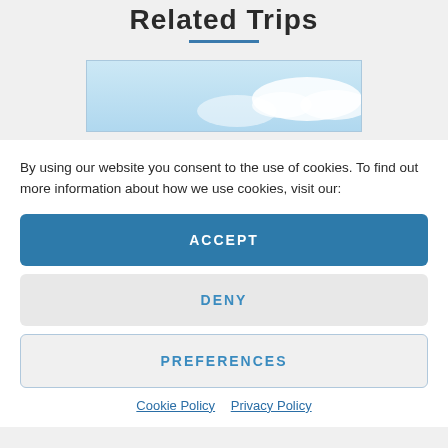Related Trips
[Figure (photo): A sky/cloud photo partially visible behind the cookie consent overlay]
By using our website you consent to the use of cookies. To find out more information about how we use cookies, visit our:
ACCEPT
DENY
PREFERENCES
Cookie Policy   Privacy Policy